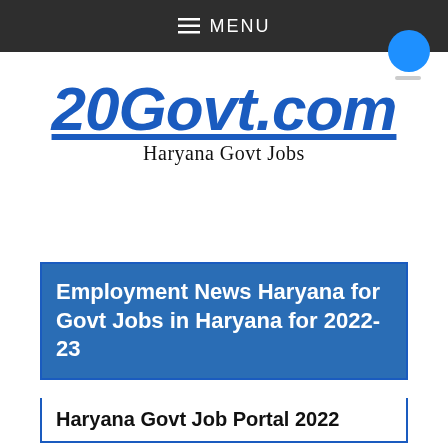≡ MENU
[Figure (logo): 20Govt.com logo with subtitle Haryana Govt Jobs in blue italic bold font with underline]
Employment News Haryana for Govt Jobs in Haryana for 2022-23
Haryana Govt Job Portal 2022